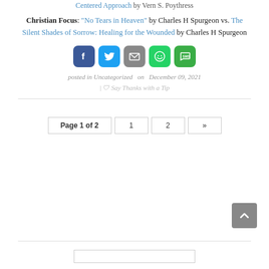Centered Approach by Vern S. Poythress
Christian Focus: "No Tears in Heaven" by Charles H Spurgeon vs. The Silent Shades of Sorrow: Healing for the Wounded by Charles H Spurgeon
[Figure (other): Social share buttons: Facebook, Twitter, Email, WhatsApp, SMS]
posted in Uncategorized  on  December 09, 2021
| Say Thanks with a Tip
Page 1 of 2  1  2  »